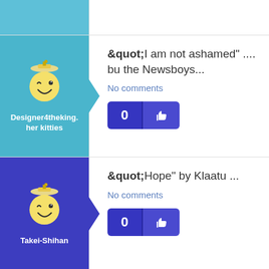[Figure (other): Top empty teal-colored left column row]
[Figure (illustration): Winking smiley face avatar with graduation cap on teal background, username Designer4theking. her kitties]
&quot;I am not ashamed" .... bu the Newsboys...
No comments
[Figure (other): Like button showing 0 with thumbs up icon, dark blue]
[Figure (illustration): Winking smiley face avatar with graduation cap on blue/purple background, username Takei-Shihan]
&quot;Hope" by Klaatu ...
No comments
[Figure (other): Like button showing 0 with thumbs up icon, dark blue]